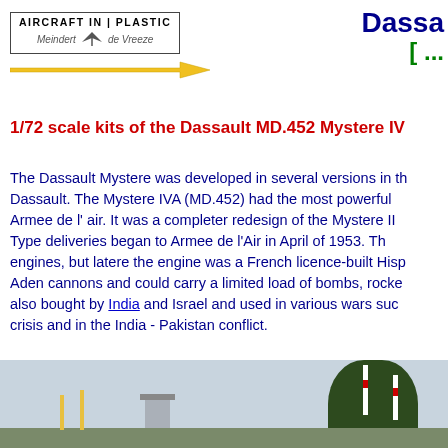Dassa
[ ...
[Figure (logo): Aircraft in Plastic - Meindert de Vreeze logo with bird silhouette]
1/72 scale kits of the Dassault MD.452 Mystere IV
The Dassault Mystere was developed in several versions in th... Dassault. The Mystere IVA (MD.452) had the most powerful... Armee de l' air. It was a completer redesign of the Mystere II... Type deliveries began to Armee de l'Air in April of 1953. Th... engines, but latere the engine was a French licence-built Hisp... Aden cannons and could carry a limited load of bombs, rocke... also bought by India and Israel and used in various wars suc... crisis and in the India - Pakistan conflict.
[Figure (photo): Outdoor airfield scene with dark tree, control tower, flagpoles with red-white stripes]